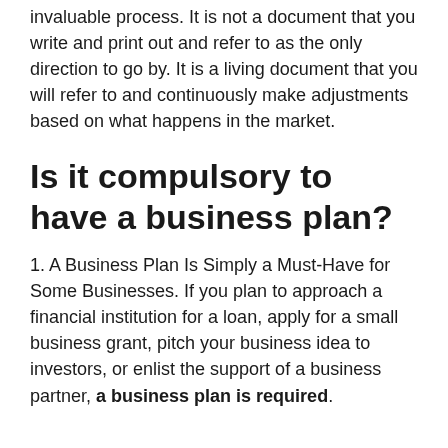invaluable process. It is not a document that you write and print out and refer to as the only direction to go by. It is a living document that you will refer to and continuously make adjustments based on what happens in the market.
Is it compulsory to have a business plan?
1. A Business Plan Is Simply a Must-Have for Some Businesses. If you plan to approach a financial institution for a loan, apply for a small business grant, pitch your business idea to investors, or enlist the support of a business partner, a business plan is required.